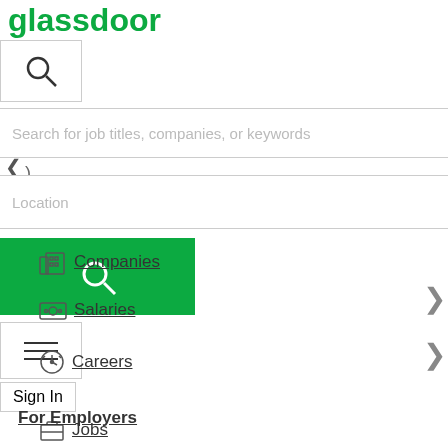glassdoor
[Figure (screenshot): Glassdoor website screenshot showing logo, search bar for job titles/companies/keywords, location field, green search button, hamburger menu, Sign In button, and navigation links: Jobs, Companies, Salaries, Careers, For Employers]
Search for job titles, companies, or keywords
Location
Jobs
Companies
Salaries
Careers
For Employers